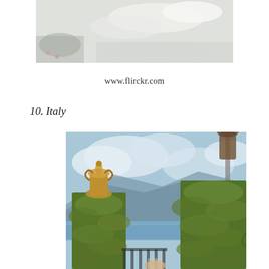[Figure (photo): Top cropped photo showing a light-colored surface, possibly gravel or sand with some flowers/petals visible at the bottom left edge]
www.flirckr.com
10.  Italy
[Figure (photo): Photo of an Italian garden/villa scene with two large ornate urns/vases and pillars covered in green ivy/moss, with a lake and mountains visible in the background under a partly cloudy blue sky. A person is partially visible at the bottom center.]